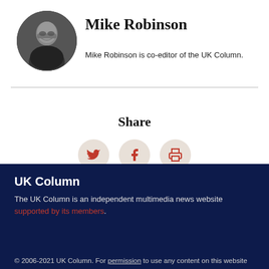[Figure (photo): Circular black and white headshot photo of Mike Robinson, a bald man wearing glasses, smiling]
Mike Robinson
Mike Robinson is co-editor of the UK Column.
Share
[Figure (infographic): Three circular share buttons: Twitter bird icon, Facebook f icon, and print/printer icon]
UK Column
The UK Column is an independent multimedia news website supported by its members.
© 2006-2021 UK Column. For permission to use any content on this website